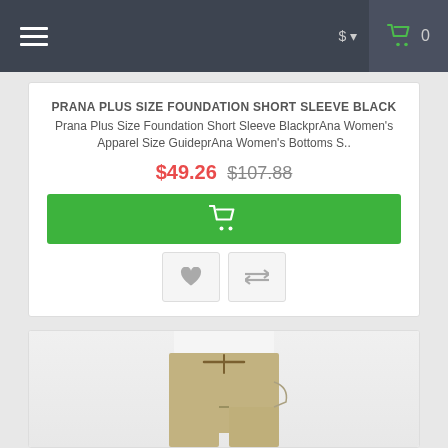Navigation bar with hamburger menu, currency selector, and cart (0 items)
PRANA PLUS SIZE FOUNDATION SHORT SLEEVE BLACK
Prana Plus Size Foundation Short Sleeve BlackprAna Women's Apparel Size GuideprAna Women's Bottoms S..
$49.26 $107.88
[Figure (screenshot): Green Add to Cart button with shopping cart icon]
[Figure (screenshot): Wishlist (heart) and compare (arrows) action buttons]
[Figure (photo): Product photo showing lower half of person wearing khaki/tan drawstring pants]